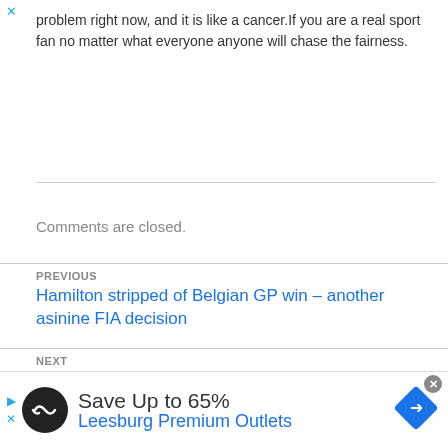problem right now, and it is like a cancer.If you are a real sport fan no matter what everyone anyone will chase the fairness.
Comments are closed.
PREVIOUS
Hamilton stripped of Belgian GP win – another asinine FIA decision
NEXT
2009 Belgian Grand Prix stats and facts
[Figure (infographic): Advertisement banner: Save Up to 65% Leesburg Premium Outlets with logos]